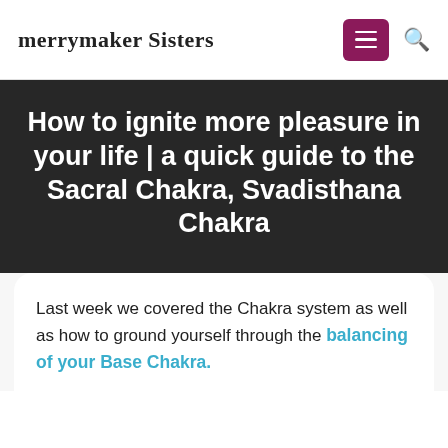Merrymaker Sisters
How to ignite more pleasure in your life | a quick guide to the Sacral Chakra, Svadisthana Chakra
Last week we covered the Chakra system as well as how to ground yourself through the balancing of your Base Chakra.